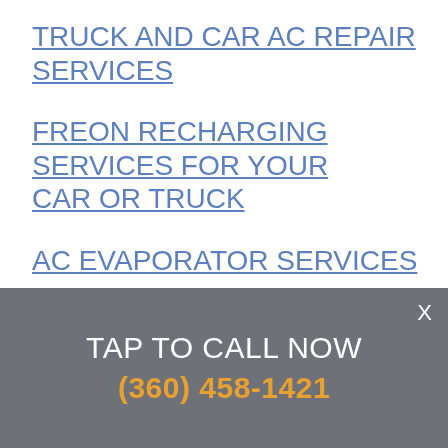TRUCK AND CAR AC REPAIR SERVICES
FREON RECHARGING SERVICES FOR YOUR CAR OR TRUCK
AC EVAPORATOR SERVICES
TAP TO CALL NOW
(360) 458-1421